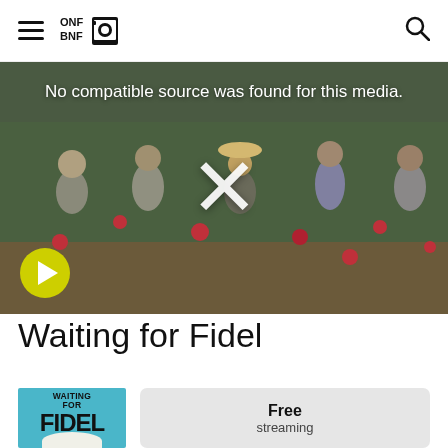ONF BNF [logo] [hamburger menu] [search icon]
[Figure (screenshot): Video player showing workers in a rose field. Overlay text: 'No compatible source was found for this media.' with an X icon and yellow play button.]
Waiting for Fidel
[Figure (illustration): Movie poster for 'Waiting for Fidel' with blue background, text WAITING FOR FIDEL in bold black letters]
Free streaming